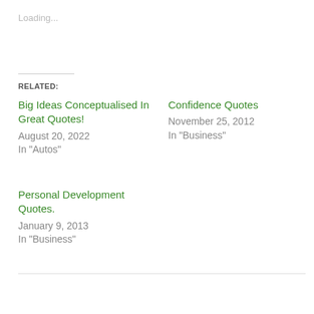Loading...
RELATED:
Big Ideas Conceptualised In Great Quotes!
August 20, 2022
In "Autos"
Confidence Quotes
November 25, 2012
In "Business"
Personal Development Quotes.
January 9, 2013
In "Business"
PREVIOUS POST
LIVE YOUR OWN TRUTH